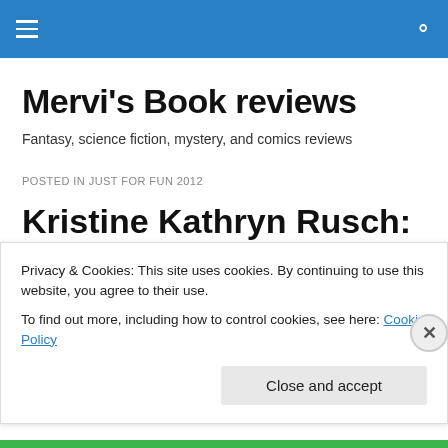Mervi's Book reviews — site navigation header bar
Mervi's Book reviews
Fantasy, science fiction, mystery, and comics reviews
POSTED IN JUST FOR FUN 2012
Kristine Kathryn Rusch: Blowback
Privacy & Cookies: This site uses cookies. By continuing to use this website, you agree to their use.
To find out more, including how to control cookies, see here: Cookie Policy
Close and accept